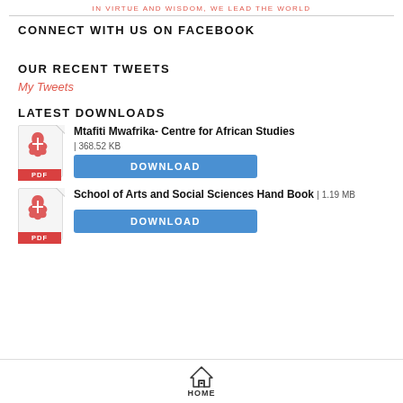IN VIRTUE AND WISDOM, WE LEAD THE WORLD
CONNECT WITH US ON FACEBOOK
OUR RECENT TWEETS
My Tweets
LATEST DOWNLOADS
Mtafiti Mwafrika- Centre for African Studies | 368.52 KB DOWNLOAD
School of Arts and Social Sciences Hand Book | 1.19 MB DOWNLOAD
HOME